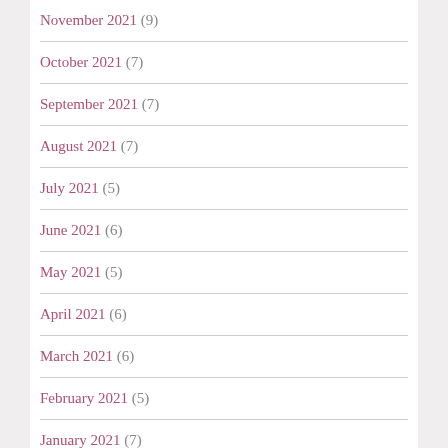November 2021 (9)
October 2021 (7)
September 2021 (7)
August 2021 (7)
July 2021 (5)
June 2021 (6)
May 2021 (5)
April 2021 (6)
March 2021 (6)
February 2021 (5)
January 2021 (7)